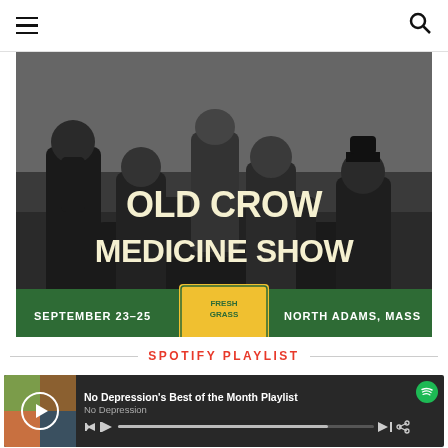Navigation bar with hamburger menu and search icon
[Figure (photo): Black and white photo of Old Crow Medicine Show band members posing around a vehicle. Text overlay reads 'OLD CROW MEDICINE SHOW' with 'FRESH GRASS' logo, 'SEPTEMBER 23-25', 'NORTH ADAMS, MASS' on a green banner.]
SPOTIFY PLAYLIST
[Figure (screenshot): Spotify embedded player showing 'No Depression's Best of the Month Playlist' by No Depression, with album art collage, play button, playback controls, and progress bar.]
1   Stop and Start   3:06
The Sadies